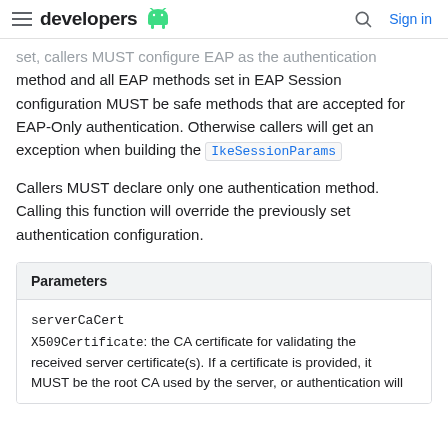≡ developers [android logo] Sign in
set, callers MUST configure EAP as the authentication method and all EAP methods set in EAP Session configuration MUST be safe methods that are accepted for EAP-Only authentication. Otherwise callers will get an exception when building the IkeSessionParams
Callers MUST declare only one authentication method. Calling this function will override the previously set authentication configuration.
| Parameters |
| --- |
| serverCaCert |
| X509Certificate: the CA certificate for validating the received server certificate(s). If a certificate is provided, it MUST be the root CA used by the server, or authentication will |
X509Certificate: the CA certificate for validating the received server certificate(s). If a certificate is provided, it MUST be the root CA used by the server, or authentication will